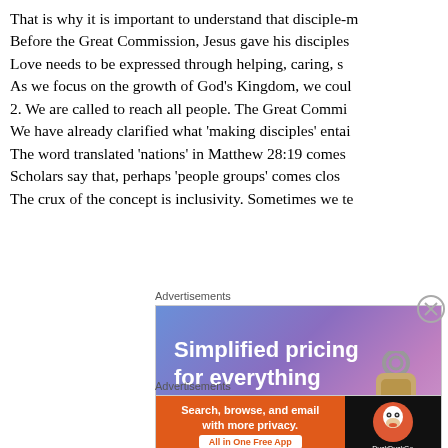That is why it is important to understand that disciple-m Before the Great Commission, Jesus gave his disciples Love needs to be expressed through helping, caring, s As we focus on the growth of God’s Kingdom, we coul 2. We are called to reach all people. The Great Commi We have already clarified what ‘making disciples’ entai The word translated ‘nations’ in Matthew 28:19 comes Scholars say that, perhaps ‘people groups’ comes clos The crux of the concept is inclusivity. Sometimes we te
Advertisements
[Figure (other): Advertisement banner: 'Simplified pricing for everything you need.' with a 'Build Your Website' button, blue-purple gradient background with a key tag image.]
Advertisements
[Figure (other): Advertisement banner for DuckDuckGo: 'Search, browse, and email with more privacy. All in One Free App' with DuckDuckGo logo on dark right panel.]